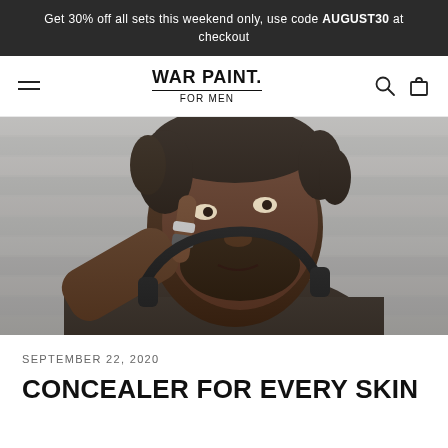Get 30% off all sets this weekend only, use code AUGUST30 at checkout
WAR PAINT. FOR MEN
[Figure (photo): Close-up photo of a Black man with curly hair and a beard, wearing rings on his fingers, touching his cheek/under-eye area with his index finger. He is wearing headphones around his neck and a plaid jacket. Background is a grey brick wall.]
SEPTEMBER 22, 2020
CONCEALER FOR EVERY SKIN